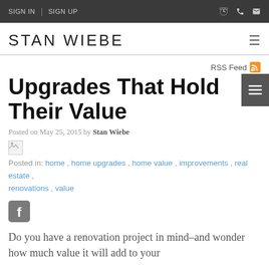SIGN IN  |  SIGN UP
STAN WIEBE
Upgrades That Hold Their Value
Posted on May 25, 2015 by Stan Wiebe
Posted in: home , home upgrades , home value , improvements , real estate , renovations , value
Do you have a renovation project in mind–and wonder how much value it will add to your